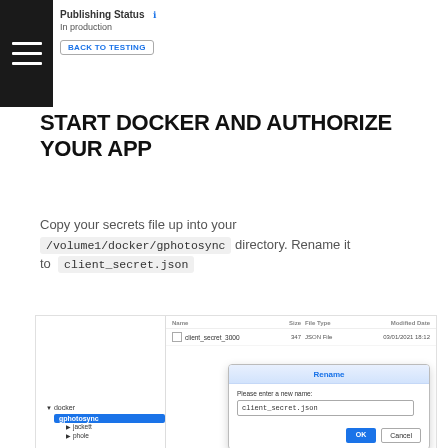Publishing Status
In production
BACK TO TESTING
START DOCKER AND AUTHORIZE YOUR APP
Copy your secrets file up into your /volume1/docker/gphotosync directory. Rename it to client_secret.json
[Figure (screenshot): Screenshot showing a file manager with gphotosync directory selected on the left, a file named client_secret_3000 listed on the right with size 347, type JSON File, date 03/01/2021 18:12, and a Rename dialog box open with input showing client_secret.json and OK/Cancel buttons.]